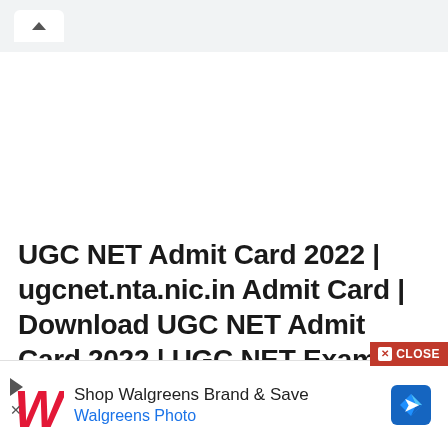[Figure (screenshot): Browser tab bar with up chevron button on white tab]
UGC NET Admit Card 2022 | ugcnet.nta.nic.in Admit Card | Download UGC NET Admit Card 2022 | UGC NET Exam Date 2022 |
[Figure (screenshot): Advertisement banner: Shop Walgreens Brand & Save - Walgreens Photo, with Walgreens cursive W logo and blue navigation diamond icon]
[Figure (screenshot): CLOSE button in red, side navigation controls (play triangle and X)]